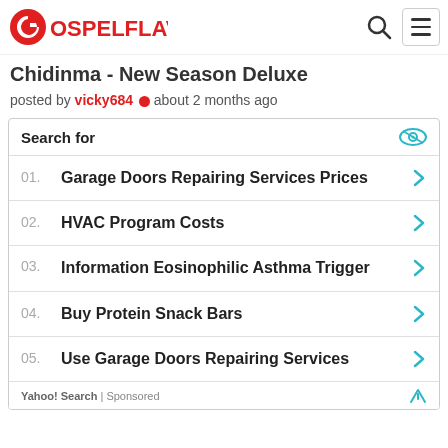GOSPELFLAVOUR
Chidinma - New Season Deluxe
posted by vicky684 about 2 months ago
Search for
01. Garage Doors Repairing Services Prices
02. HVAC Program Costs
03. Information Eosinophilic Asthma Trigger
04. Buy Protein Snack Bars
05. Use Garage Doors Repairing Services
Yahoo! Search | Sponsored